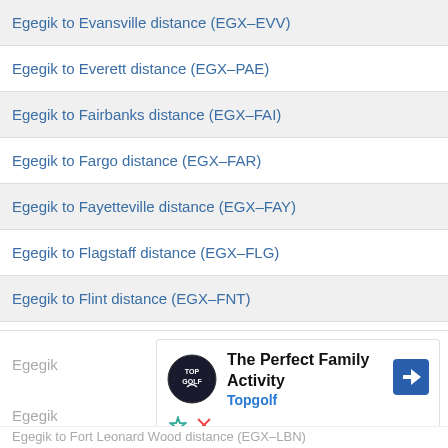Egegik to Evansville distance (EGX–EVV)
Egegik to Everett distance (EGX–PAE)
Egegik to Fairbanks distance (EGX–FAI)
Egegik to Fargo distance (EGX–FAR)
Egegik to Fayetteville distance (EGX–FAY)
Egegik to Flagstaff distance (EGX–FLG)
Egegik to Flint distance (EGX–FNT)
Egegik to Florence distance (EGX–FLO)
Egegik to Fort Dodge distance (EGX–FOD)
[Figure (screenshot): Advertisement panel for Topgolf: The Perfect Family Activity, with Topgolf logo and navigation arrow icon. Close button (X) visible at top right.]
Egegik to Fort Leonard Wood distance (EGX–LBN)